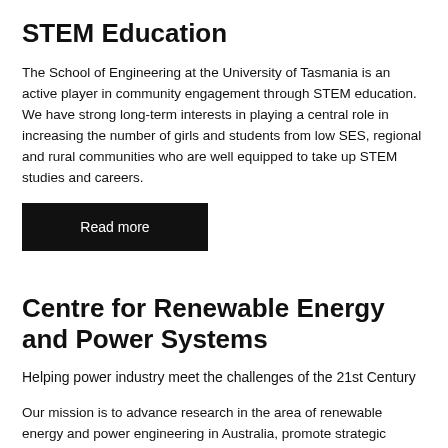STEM Education
The School of Engineering at the University of Tasmania is an active player in community engagement through STEM education. We have strong long-term interests in playing a central role in increasing the number of girls and students from low SES, regional and rural communities who are well equipped to take up STEM studies and careers.
Read more
Centre for Renewable Energy and Power Systems
Helping power industry meet the challenges of the 21st Century
Our mission is to advance research in the area of renewable energy and power engineering in Australia, promote strategic cooperation between the University of Tasmania and Tasmanian Power Industries in the area of renewable energy and power